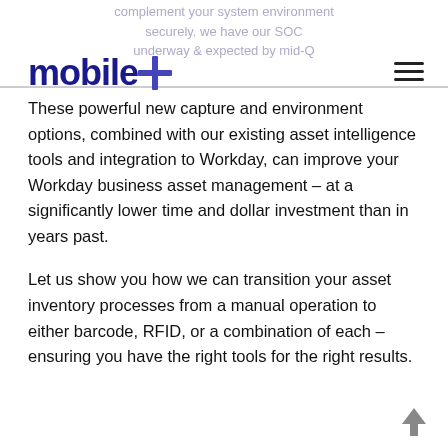complement your system environment securely. we have our SOC underway & expected by mid-Q
[Figure (logo): mobile+ logo with blue bold text and blue plus symbol]
These powerful new capture and environment options, combined with our existing asset intelligence tools and integration to Workday, can improve your Workday business asset management – at a significantly lower time and dollar investment than in years past.
Let us show you how we can transition your asset inventory processes from a manual operation to either barcode, RFID, or a combination of each – ensuring you have the right tools for the right results.